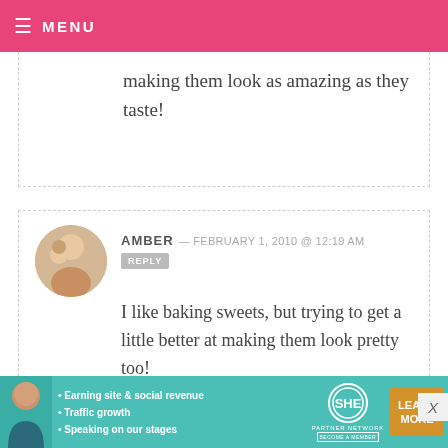≡ MENU
making them look as amazing as they taste!
AMBER — FEBRUARY 1, 2010 @ 12:19 AM   REPLY
I like baking sweets, but trying to get a little better at making them look pretty too!
NICOLE — FEBRUARY 1, 2010 @ 12:19 AM   REPLY
[Figure (infographic): SHE Partner Network advertisement banner with text: Earning site & social revenue, Traffic growth, Speaking on our stages. Includes SHE logo and LEARN MORE button.]